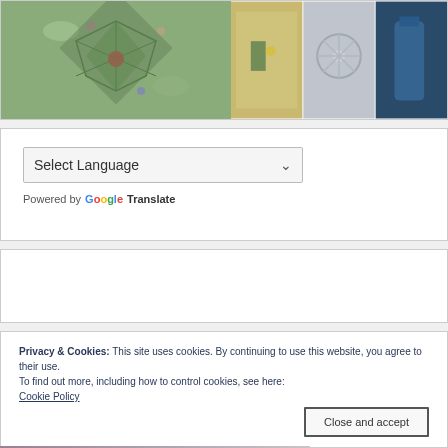[Figure (photo): Two side-by-side photo sections: left shows a floral quilt/fabric arrangement with green leaves and colorful flowers in a pinwheel pattern; right shows three smaller images of flowers and decorative items]
Select Language
Powered by Google Translate
Privacy & Cookies: This site uses cookies. By continuing to use this website, you agree to their use.
To find out more, including how to control cookies, see here:
Cookie Policy
Close and accept
[Figure (photo): Partial bottom image strip showing blurred floral or fabric content]